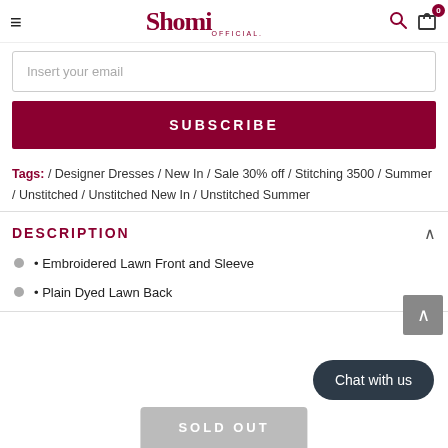Shomi OFFICIAL
Insert your email
SUBSCRIBE
Tags: / Designer Dresses / New In / Sale 30% off / Stitching 3500 / Summer / Unstitched / Unstitched New In / Unstitched Summer
DESCRIPTION
• Embroidered Lawn Front and Sleeve
• Plain Dyed Lawn Back
Chat with us
SOLD OUT